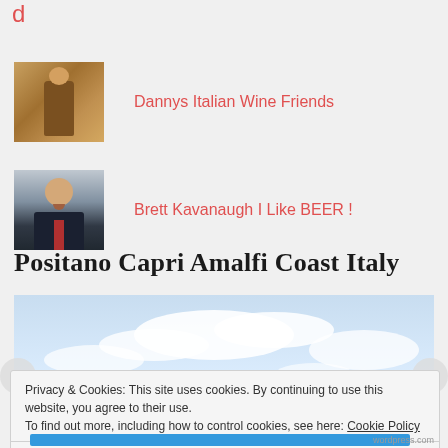d
Dannys Italian Wine Friends
Brett Kavanaugh I Like BEER !
Positano Capri Amalfi Coast Italy
[Figure (photo): Landscape photo of Amalfi Coast showing sky with clouds and trees in the foreground]
Privacy & Cookies: This site uses cookies. By continuing to use this website, you agree to their use.
To find out more, including how to control cookies, see here: Cookie Policy
Close and accept